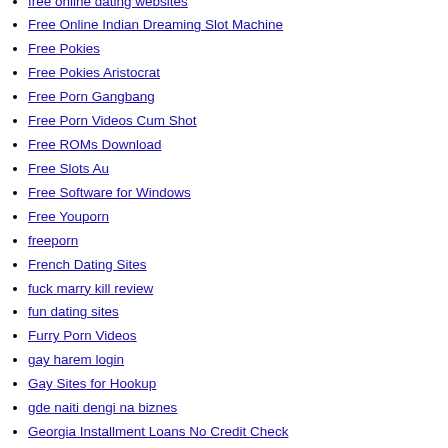free online dating websites
Free Online Indian Dreaming Slot Machine
Free Pokies
Free Pokies Aristocrat
Free Porn Gangbang
Free Porn Videos Cum Shot
Free ROMs Download
Free Slots Au
Free Software for Windows
Free Youporn
freeporn
French Dating Sites
fuck marry kill review
fun dating sites
Furry Porn Videos
gay harem login
Gay Sites for Hookup
gde naiti dengi na biznes
Georgia Installment Loans No Credit Check
georgian dating
German Women For Marriage
Get Payday Loan Online Now
golden goddess free slots
good dating sites
good dating sites free
good online dating sites